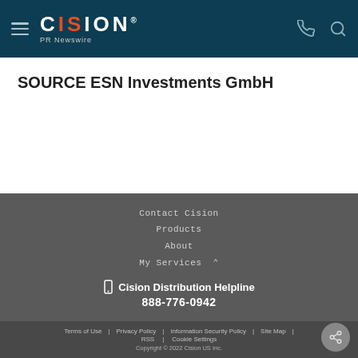CISION PR Newswire
SOURCE ESN Investments GmbH
Contact Cision
Products
About
My Services
Cision Distribution Helpline
888-776-0942
Terms of Use | Privacy Policy | Information Security Policy | Site Map | RSS | Cookie Settings
Copyright © 2022 Cision US Inc.